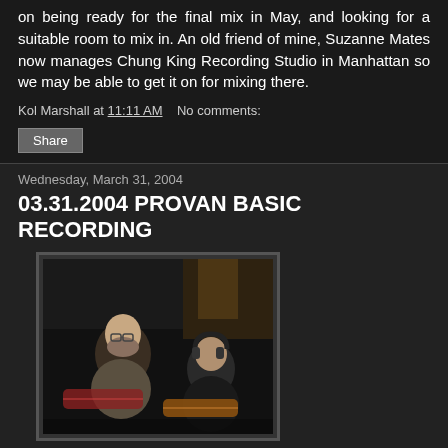on being ready for the final mix in May, and looking for a suitable room to mix in. An old friend of mine, Suzanne Mates now manages Chung King Recording Studio in Manhattan so we may be able to get it on for mixing there.
Kol Marshall at 11:11 AM   No comments:
Share
Wednesday, March 31, 2004
03.31.2004 PROVAN BASIC RECORDING
[Figure (photo): Two men in a recording studio playing guitars, low-light indoor setting, one wearing headphones]